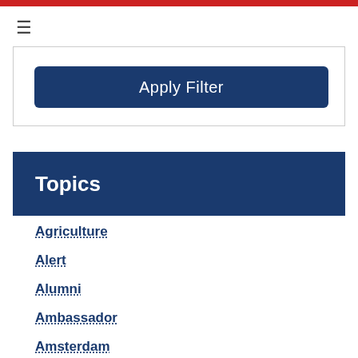[Figure (other): Red horizontal bar at top of page]
[Figure (other): Hamburger menu icon (three horizontal lines)]
[Figure (other): Apply Filter button in dark navy blue rounded rectangle]
Topics
Agriculture
Alert
Alumni
Ambassador
Amsterdam
Art & Culture
Business
Chargé D'Affaires